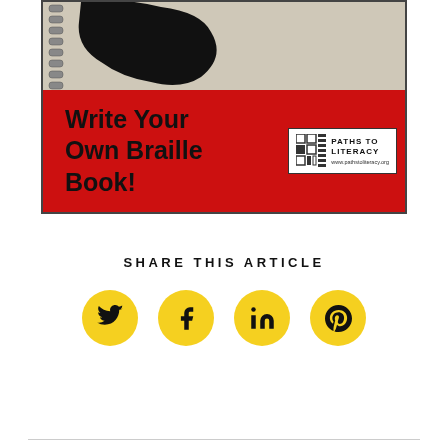[Figure (photo): Cover of a book titled 'Write Your Own Braille Book!' with a red background and a Paths to Literacy logo in the top right. The top portion shows a spiral-bound notebook with a dark shape on a beige background.]
SHARE THIS ARTICLE
[Figure (infographic): Four yellow circular social media share buttons: Twitter (bird icon), Facebook (f icon), LinkedIn (in icon), Pinterest (P icon)]